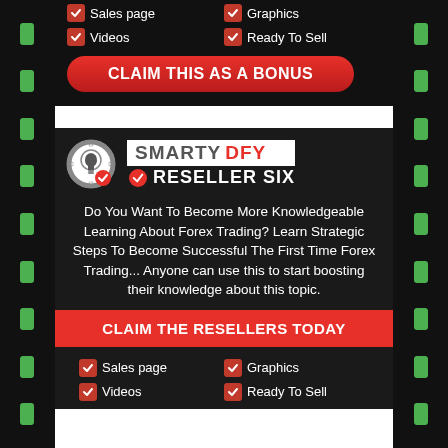✓ Sales page  ✓ Graphics
✓ Videos  ✓ Ready To Sell
CLAIM THIS AS A BONUS
[Figure (logo): Smarty DFY Reseller Six logo with gear/brain/lightbulb icon]
Do You Want To Become More Knowledgeable Learning About Forex Trading? Learn Strategic Steps To Become Successful The First Time Forex Trading... Anyone can use this to start boosting their knowledge about this topic.
CLAIM THE RESELLERS TODAY
✓ Sales page  ✓ Graphics
✓ Videos  ✓ Ready To Sell